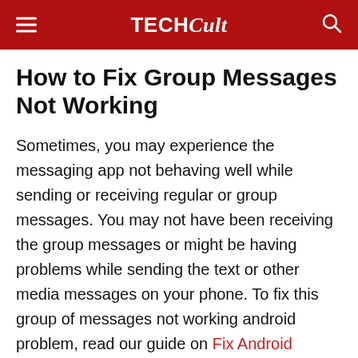TECHCult
How to Fix Group Messages Not Working
Sometimes, you may experience the messaging app not behaving well while sending or receiving regular or group messages. You may not have been receiving the group messages or might be having problems while sending the text or other media messages on your phone. To fix this group of messages not working android problem, read our guide on Fix Android Messaging App Not Working thoroughly and follow the steps mentioned. After reading